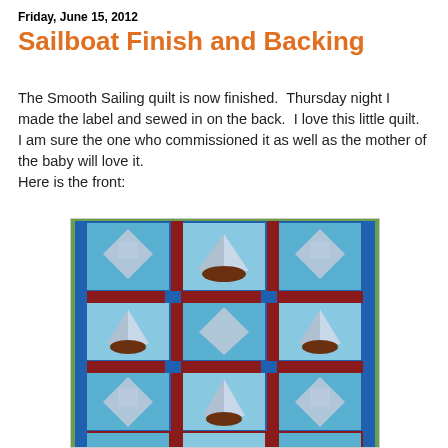Friday, June 15, 2012
Sailboat Finish and Backing
The Smooth Sailing quilt is now finished.  Thursday night I made the label and sewed in on the back.  I love this little quilt.  I am sure the one who commissioned it as well as the mother of the baby will love it.
Here is the front:
[Figure (photo): Photo of a sailboat quilt with blue, red, and gray fabrics arranged in a grid pattern showing sailboat blocks. The quilt is hung outdoors on a sunny day.]